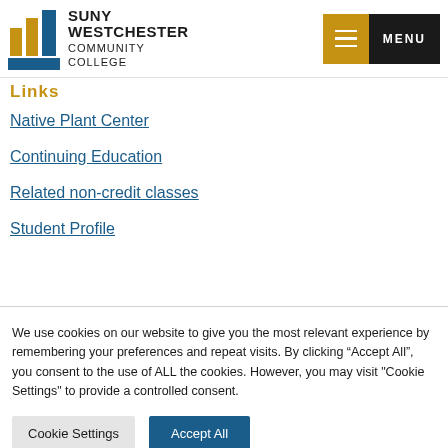SUNY Westchester Community College — MENU
Links
Native Plant Center
Continuing Education
Related non-credit classes
Student Profile
We use cookies on our website to give you the most relevant experience by remembering your preferences and repeat visits. By clicking “Accept All”, you consent to the use of ALL the cookies. However, you may visit "Cookie Settings" to provide a controlled consent.